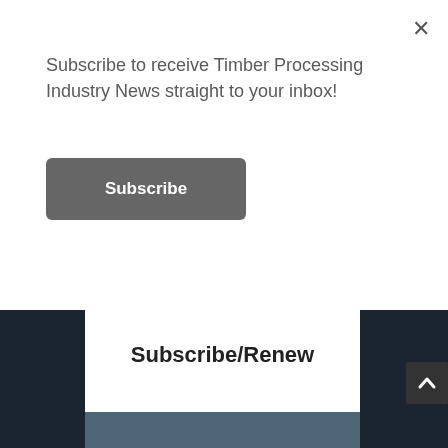Subscribe to receive Timber Processing Industry News straight to your inbox!
Subscribe
Subscribe/Renew
[Figure (screenshot): Dark teal background section below the popup, representing the lower portion of a webpage with a Subscribe/Renew heading]